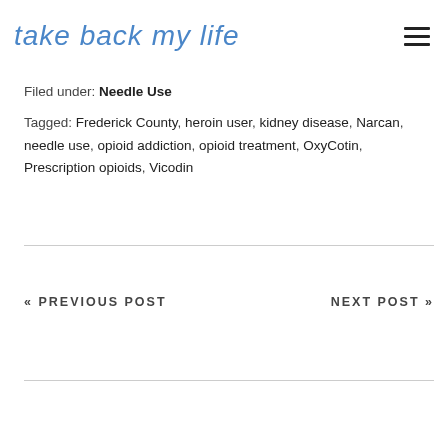take back my life
Filed under: Needle Use
Tagged: Frederick County, heroin user, kidney disease, Narcan, needle use, opioid addiction, opioid treatment, OxyCotin, Prescription opioids, Vicodin
« PREVIOUS POST
NEXT POST »